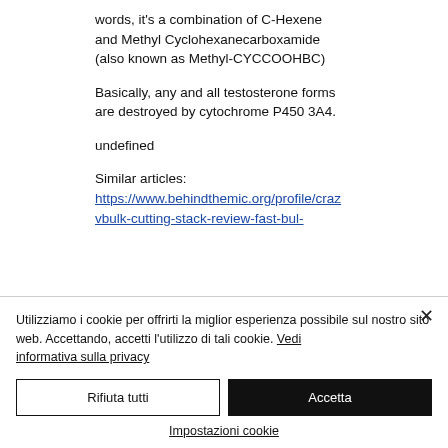words, it's a combination of C-Hexene and Methyl Cyclohexanecarboxamide (also known as Methyl-CYCCOOHBC)
Basically, any and all testosterone forms are destroyed by cytochrome P450 3A4.
undefined
Similar articles:
https://www.behindthemic.org/profile/crazvbulk-cutting-stack-review-fast-bul-
Utilizziamo i cookie per offrirti la miglior esperienza possibile sul nostro sito web. Accettando, accetti l'utilizzo di tali cookie. Vedi informativa sulla privacy
Rifiuta tutti
Accetta
Impostazioni cookie